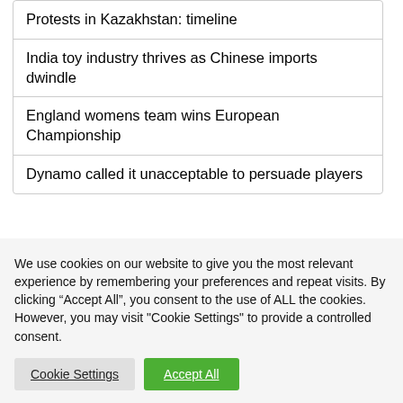Protests in Kazakhstan: timeline
India toy industry thrives as Chinese imports dwindle
England womens team wins European Championship
Dynamo called it unacceptable to persuade players
We use cookies on our website to give you the most relevant experience by remembering your preferences and repeat visits. By clicking “Accept All”, you consent to the use of ALL the cookies. However, you may visit "Cookie Settings" to provide a controlled consent.
Cookie Settings | Accept All